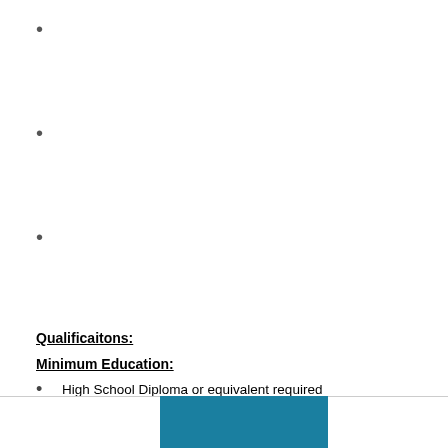Qualificaitons:
Minimum Education:
High School Diploma or equivalent required
Graduate of CAAHEP accredited Vascular sonogrpahy program required